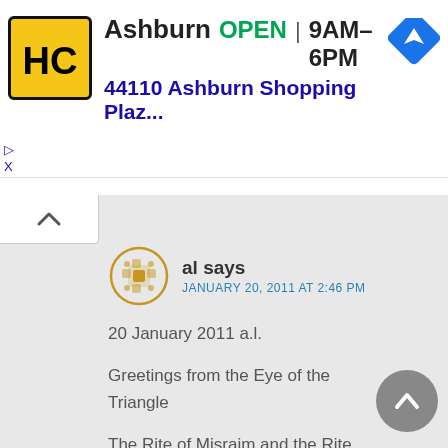[Figure (screenshot): Advertisement banner for HC (Hammer and Chisel or similar) in Ashburn, showing logo, OPEN status, hours 9AM-6PM, address 44110 Ashburn Shopping Plaz..., and a navigation/directions icon]
Ashburn  OPEN | 9AM–6PM
44110 Ashburn Shopping Plaz...
al says
JANUARY 20, 2011 AT 2:46 PM
20 January 2011 a.l.

Greetings from the Eye of the Triangle

The Rite of Misraim and the Rite Memphis and their fusion, has a continuing fascination and seeming obsession to those who are attracted to the rites for whatsoever purpose. Be it as a history of ideas or to be used to supposedly